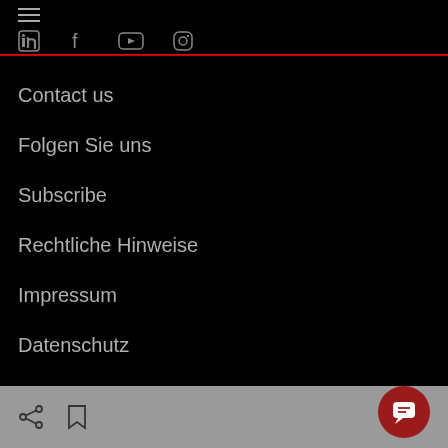☰  in  f  ▶  ○
Contact us
Folgen Sie uns
Subscribe
Rechtliche Hinweise
Impressum
Datenschutz
Cookie-Richtlinie
Sustainability
Share  Bookmark  Chat